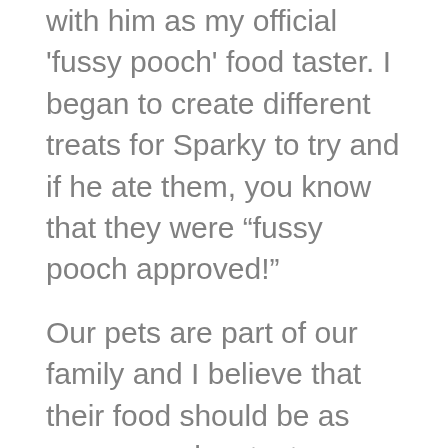with him as my official 'fussy pooch' food taster. I began to create different treats for Sparky to try and if he ate them, you know that they were “fussy pooch approved!”
Our pets are part of our family and I believe that their food should be as yummy and as tasty as ours! For that reason, my commitment to you is to provide you with yummy and healthy treats, with wholesome ingredients without all those unhealthy preservatives, where you can be